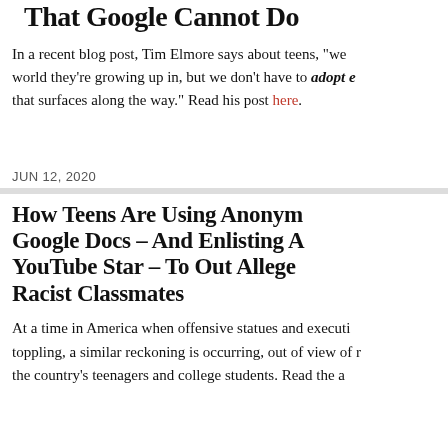That Google Cannot Do
In a recent blog post, Tim Elmore says about teens, "we... world they're growing up in, but we don't have to adopt e... that surfaces along the way." Read his post here.
JUN 12, 2020
How Teens Are Using Anonymous Google Docs – And Enlisting A YouTube Star – To Out Alleged Racist Classmates
At a time in America when offensive statues and executives toppling, a similar reckoning is occurring, out of view of m... the country's teenagers and college students. Read the a...